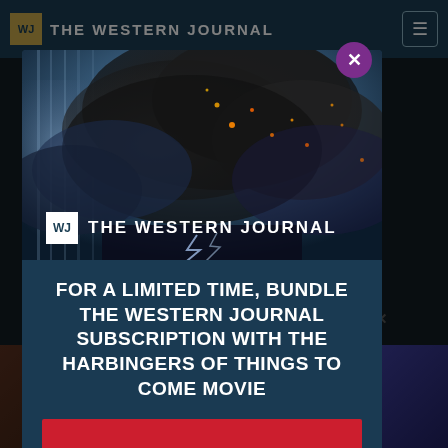THE WESTERN JOURNAL
[Figure (screenshot): The Western Journal website screenshot showing a modal popup with an image of dark smoke/explosion clouds with orange embers against a blue sky, overlaid with The Western Journal logo and a promotional message about bundling a subscription with the Harbingers of Things to Come movie. Background shows dark website content and bottom thumbnail images.]
FOR A LIMITED TIME, BUNDLE THE WESTERN JOURNAL SUBSCRIPTION WITH THE HARBINGERS OF THINGS TO COME MOVIE